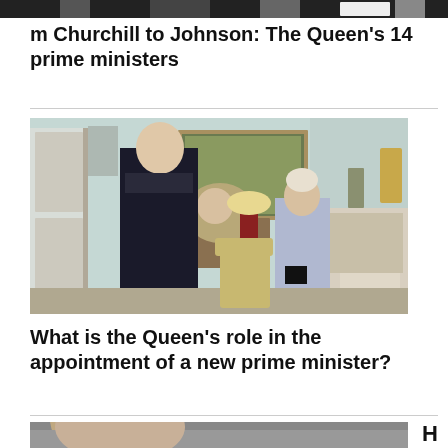[Figure (photo): Cropped black and white photo strip at top of page]
m Churchill to Johnson: The Queen's 14 prime ministers
[Figure (photo): Photo of Boris Johnson meeting Queen Elizabeth II in an ornate room at Buckingham Palace]
What is the Queen's role in the appointment of a new prime minister?
[Figure (photo): Partial photo of a person at the bottom of the page, cropped]